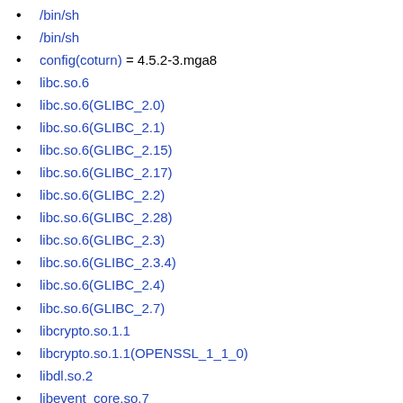/bin/sh
/bin/sh
config(coturn) = 4.5.2-3.mga8
libc.so.6
libc.so.6(GLIBC_2.0)
libc.so.6(GLIBC_2.1)
libc.so.6(GLIBC_2.15)
libc.so.6(GLIBC_2.17)
libc.so.6(GLIBC_2.2)
libc.so.6(GLIBC_2.28)
libc.so.6(GLIBC_2.3)
libc.so.6(GLIBC_2.3.4)
libc.so.6(GLIBC_2.4)
libc.so.6(GLIBC_2.7)
libcrypto.so.1.1
libcrypto.so.1.1(OPENSSL_1_1_0)
libdl.so.2
libevent_core.so.7
libevent_extra.so.7
libevent_openssl.so.7
libevent_pthreads.so.7
libm.so.6
libmariadb.so.3
libmariadb.so.3(libmysqlclient_18)
libpq.so.5